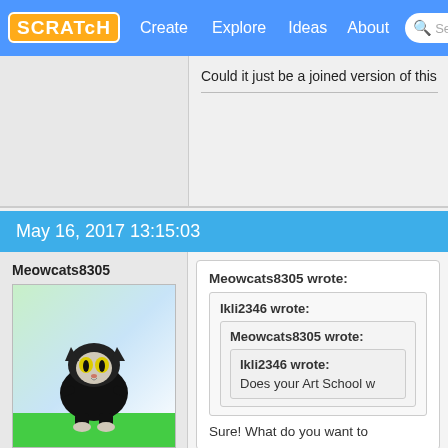SCRATCH | Create | Explore | Ideas | About | Search
Could it just be a joined version of this
May 16, 2017 13:15:03
Meowcats8305
[Figure (illustration): Cartoon cat character wearing a black hoodie, standing on green ground, with yellow eyes, on a light gradient background]
Scratcher
100+ posts
Meowcats8305 wrote:
  Ikli2346 wrote:
    Meowcats8305 wrote:
      Ikli2346 wrote:
      Does your Art School w
    
    Sure! What do you want to